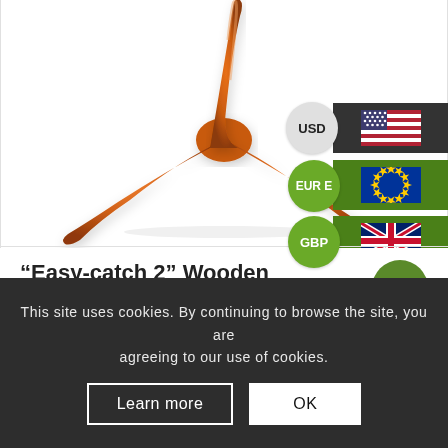[Figure (photo): Orange wooden boomerang (three-armed design) on white background, with currency selector overlays (USD, EUR, GBP with flags) on the right side]
“Easy-catch 2” Wooden Boomerang
59.00 USD • 49.00 USD
Sale!
This site uses cookies. By continuing to browse the site, you are agreeing to our use of cookies.
Learn more
OK